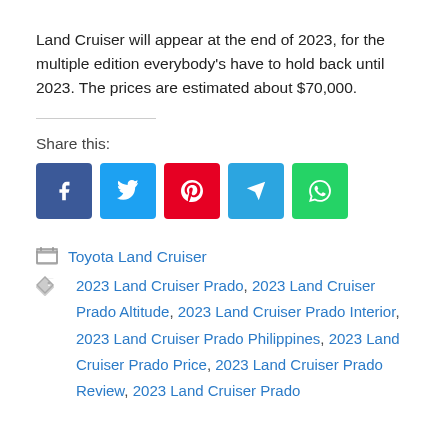Land Cruiser will appear at the end of 2023, for the multiple edition everybody's have to hold back until 2023. The prices are estimated about $70,000.
Share this:
[Figure (infographic): Social media share buttons: Facebook (blue), Twitter (light blue), Pinterest (red), Telegram (blue), WhatsApp (green)]
Toyota Land Cruiser
2023 Land Cruiser Prado, 2023 Land Cruiser Prado Altitude, 2023 Land Cruiser Prado Interior, 2023 Land Cruiser Prado Philippines, 2023 Land Cruiser Prado Price, 2023 Land Cruiser Prado Review, 2023 Land Cruiser Prado